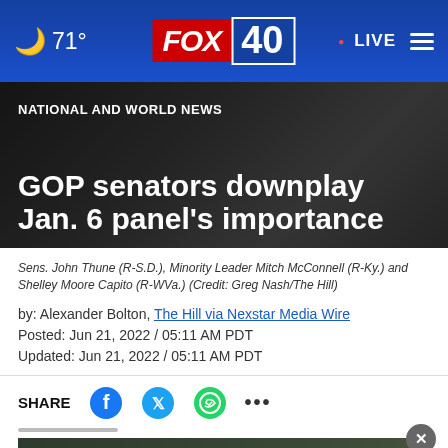71° FOX 40 LIVE
NATIONAL AND WORLD NEWS
GOP senators downplay Jan. 6 panel's importance
Sens. John Thune (R-S.D.), Minority Leader Mitch McConnell (R-Ky.) and Shelley Moore Capito (R-WVa.) (Credit: Greg Nash/The Hill)
by: Alexander Bolton, The Hill via Nexstar Media Wire
Posted: Jun 21, 2022 / 05:11 AM PDT
Updated: Jun 21, 2022 / 05:11 AM PDT
SHARE
[Figure (screenshot): Veterans, you're not alone. Ad banner overlay.]
(The Hill) — Senate Republicans are downplaying the